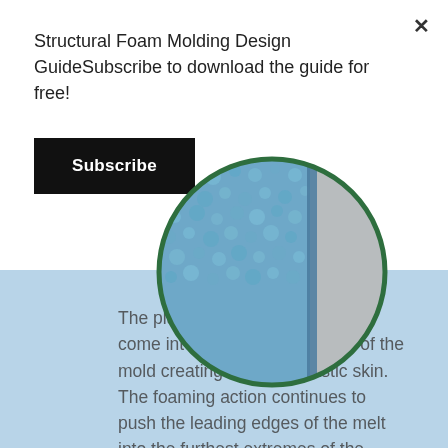Structural Foam Molding Design GuideSubscribe to download the guide for free!
Subscribe
[Figure (illustration): Cross-section circle diagram showing structural foam molding layers: blue foamed core with bubble texture on left, solid grey plastic skin layer on right, with dark green circular border.]
The plastic cells collapse as they come into contact with the wall of the mold creating the solid plastic skin. The foaming action continues to push the leading edges of the melt into the furthest extremes of the mold.